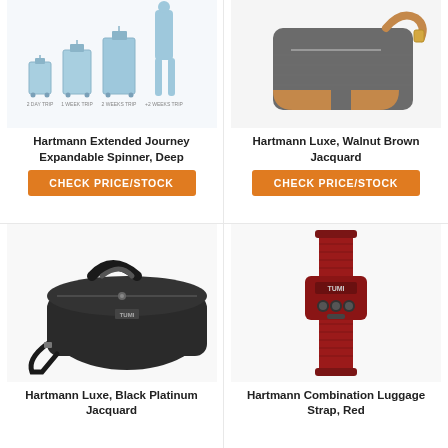[Figure (photo): Hartmann Extended Journey Expandable Spinner suitcases in various sizes shown in light blue, with size comparison silhouettes]
Hartmann Extended Journey Expandable Spinner, Deep
CHECK PRICE/STOCK
[Figure (photo): Hartmann Luxe Walnut Brown Jacquard bag with brown leather trim and shoulder strap]
Hartmann Luxe, Walnut Brown Jacquard
CHECK PRICE/STOCK
[Figure (photo): Hartmann Luxe Black Platinum Jacquard large duffel bag with handles and shoulder strap]
Hartmann Luxe, Black Platinum Jacquard
[Figure (photo): Hartmann Combination Luggage Strap in red with combination lock buckle]
Hartmann Combination Luggage Strap, Red